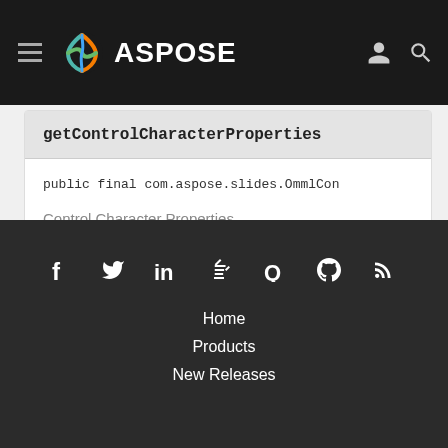ASPOSE
getControlCharacterProperties
public final com.aspose.slides.OmmlCon
Control Character Properties
Home | Products | New Releases